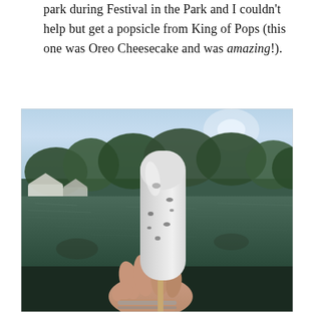park during Festival in the Park and I couldn't help but get a popsicle from King of Pops (this one was Oreo Cheesecake and was amazing!).
[Figure (photo): A hand holding up an Oreo Cheesecake popsicle from King of Pops against a backdrop of a park lake with trees, tents/structures visible in the background, and a bright sunny sky.]